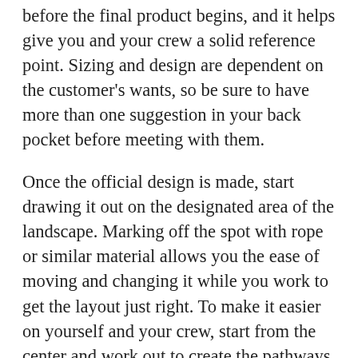before the final product begins, and it helps give you and your crew a solid reference point. Sizing and design are dependent on the customer's wants, so be sure to have more than one suggestion in your back pocket before meeting with them.
Once the official design is made, start drawing it out on the designated area of the landscape. Marking off the spot with rope or similar material allows you the ease of moving and changing it while you work to get the layout just right. To make it easier on yourself and your crew, start from the center and work out to create the pathways.
The final step of the process is planting. This, once again, comes down to what look your customer wants, but there are many options when it comes to what to plant. Some people enjoy using perennials,